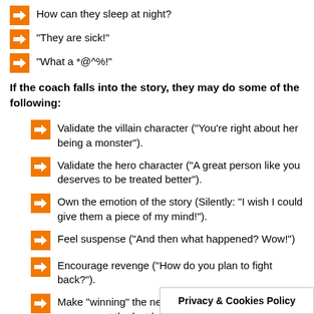How can they sleep at night?
“They are sick!”
“What a *@^%!”
If the coach falls into the story, they may do some of the following:
Validate the villain character (“You’re right about her being a monster”).
Validate the hero character (“A great person like you deserves to be treated better”).
Own the emotion of the story (Silently: “I wish I could give them a piece of my mind!”).
Feel suspense (“And then what happened? Wow!”)
Encourage revenge (“How do you plan to fight back?”).
Make “winning” the new unspoken outcome (“How can you get the last laugh?”)
Privacy & Cookies Policy